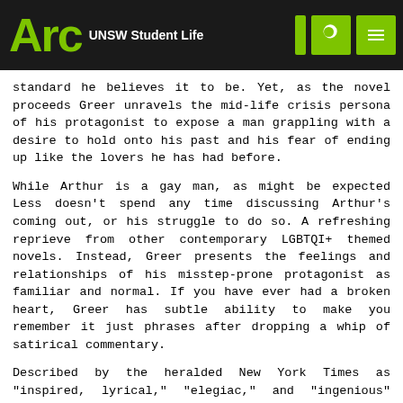Arc UNSW Student Life
standard he believes it to be. Yet, as the novel proceeds Greer unravels the mid-life crisis persona of his protagonist to expose a man grappling with a desire to hold onto his past and his fear of ending up like the lovers he has had before.
While Arthur is a gay man, as might be expected Less doesn't spend any time discussing Arthur's coming out, or his struggle to do so. A refreshing reprieve from other contemporary LGBTQI+ themed novels. Instead, Greer presents the feelings and relationships of his misstep-prone protagonist as familiar and normal. If you have ever had a broken heart, Greer has subtle ability to make you remember it just phrases after dropping a whip of satirical commentary.
Described by the heralded New York Times as "inspired, lyrical," "elegiac," and "ingenious" Greer's writing is perfectly in line with the demands of woke readers. As Arthur flies from destination to destination, Greer stunningly exposes the beauty of some of the world's most romanticised cities in a thoroughly modern manner.